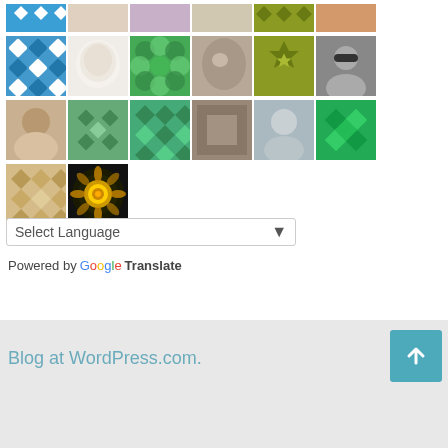[Figure (photo): Grid of user avatar thumbnails showing various patterns (blue diamond tiles, green circles, olive geometric patterns, photos of people, floral images, decorative mandalas) arranged in rows. Row 1 is partially cropped at top. Rows 2-4 show 6 avatars each, row 5 shows 2 avatars.]
Select Language
Powered by Google Translate
Blog at WordPress.com.